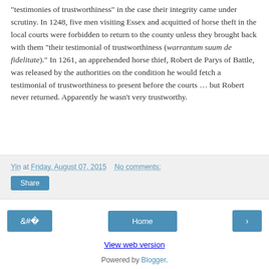“testimonies of trustworthiness” in the case their integrity came under scrutiny. In 1248, five men visiting Essex and acquitted of horse theft in the local courts were forbidden to return to the county unless they brought back with them “their testimonial of trustworthiness (warrantum suum de fidelitate).” In 1261, an apprehended horse thief, Robert de Parys of Battle, was released by the authorities on the condition he would fetch a testimonial of trustworthiness to present before the courts … but Robert never returned. Apparently he wasn’t very trustworthy.
Yin at Friday, August 07, 2015   No comments:
Share
‹
Home
›
View web version
Powered by Blogger.